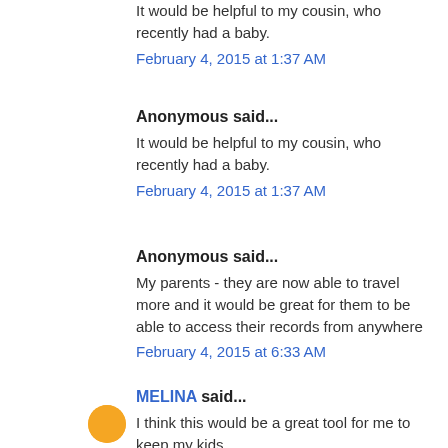It would be helpful to my cousin, who recently had a baby.
February 4, 2015 at 1:37 AM
Anonymous said...
It would be helpful to my cousin, who recently had a baby.
February 4, 2015 at 1:37 AM
Anonymous said...
My parents - they are now able to travel more and it would be great for them to be able to access their records from anywhere
February 4, 2015 at 6:33 AM
MELINA said...
I think this would be a great tool for me to keep my kids